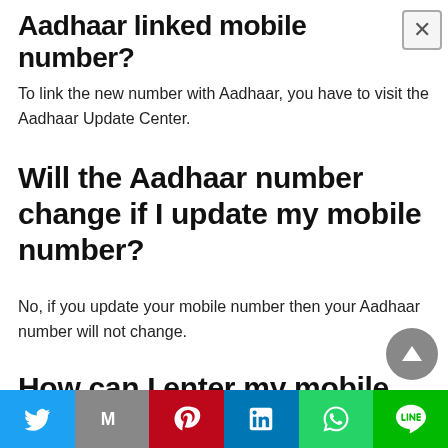Aadhaar linked mobile number?
To link the new number with Aadhaar, you have to visit the Aadhaar Update Center.
Will the Aadhaar number change if I update my mobile number?
No, if you update your mobile number then your Aadhaar number will not change.
How can I enter my mobile number
[Figure (other): Social media share bar with Twitter, Gmail, Pinterest, LinkedIn, WhatsApp, and LINE buttons]